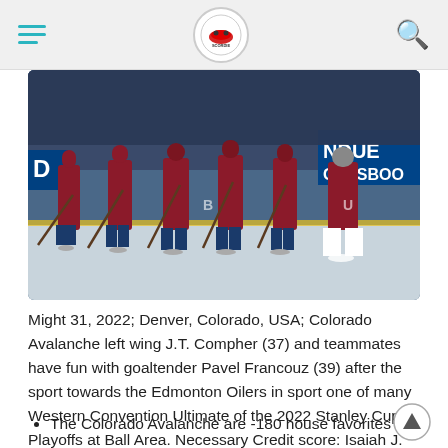Navigation bar with hamburger menu, logo, and search icon
[Figure (photo): Colorado Avalanche hockey players standing on ice rink, showing legs and skates, with hockey sticks, wearing maroon/blue uniforms. Signage in background reads 'NDUE ORTSBO' (partial Betway Sportsbook sign). Ball Arena, Denver, Colorado.]
Might 31, 2022; Denver, Colorado, USA; Colorado Avalanche left wing J.T. Compher (37) and teammates have fun with goaltender Pavel Francouz (39) after the sport towards the Edmonton Oilers in sport one of many Western Convention Ultimate of the 2022 Stanley Cup Playoffs at Ball Area. Necessary Credit score: Isaiah J. Downing-USA TODAY Sports activities
The Colorado Avalanche are -180 house favorites